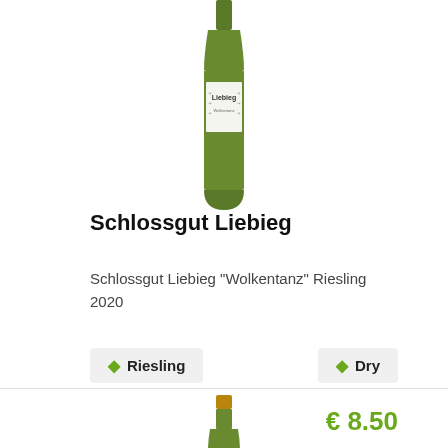[Figure (photo): Wine bottle with white label reading 'Liebieg', top portion visible, green glass bottle]
Schlossgut Liebieg
Schlossgut Liebieg "Wolkentanz" Riesling 2020
Riesling
Dry
€ 8.50
[Figure (photo): Wine bottle bottom portion visible, green glass with gold/copper foil capsule]